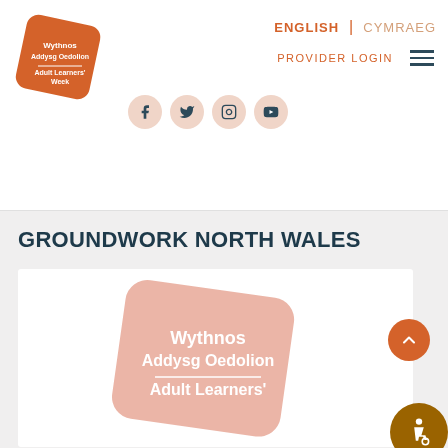[Figure (logo): Adult Learners Week / Wythnos Addysg Oedolion diamond-shaped orange logo in top-left]
ENGLISH | CYMRAEG
PROVIDER LOGIN
[Figure (illustration): Social media icons: Facebook, Twitter, Instagram, YouTube — inside pink circles]
GROUNDWORK NORTH WALES
[Figure (logo): Wythnos Addysg Oedolion / Adult Learners' Week logo inside white card, salmon/pink diamond shape]